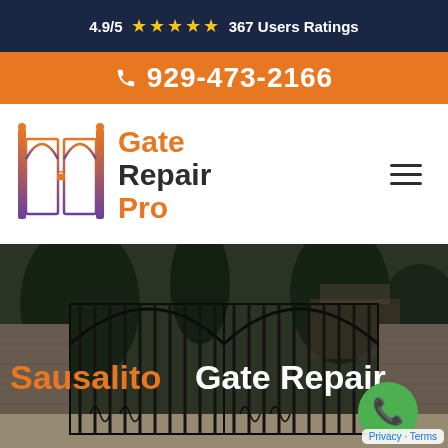4.9/5 ★★★★★ 367 Users Ratings
929-473-2166
[Figure (logo): Gate Repair Pro logo with an ornamental iron gate icon in orange/purple gradient and text 'Gate Repair Pro']
[Figure (photo): A large ornamental black iron double gate flanked by stone pillars with trees and a house visible in the background. Text overlay reads 'Sausalito Gate Repair' with a green phone button.]
Privacy · Terms